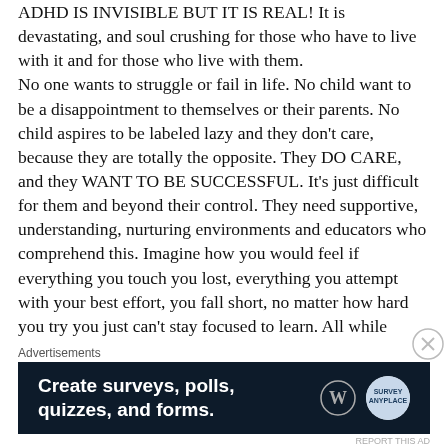ADHD IS INVISIBLE BUT IT IS REAL! It is devastating, and soul crushing for those who have to live with it and for those who live with them. No one wants to struggle or fail in life. No child want to be a disappointment to themselves or their parents. No child aspires to be labeled lazy and they don't care, because they are totally the opposite. They DO CARE, and they WANT TO BE SUCCESSFUL. It's just difficult for them and beyond their control. They need supportive, understanding, nurturing environments and educators who comprehend this. Imagine how you would feel if everything you touch you lost, everything you attempt with your best effort, you fall short, no matter how hard you try you just can't stay focused to learn. All while everyone around you is excelling. Imagine being an extremely bright and
Advertisements
[Figure (screenshot): Advertisement banner for WordPress survey/polls/quizzes/forms tool on dark navy background with WordPress logo and Survey Anyplace badge]